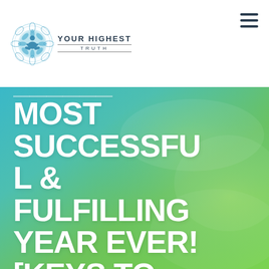[Figure (logo): Your Highest Truth logo — mandala/lotus emblem with meditating figure in teal/blue, with brand name YOUR HIGHEST TRUTH and decorative lines]
[Figure (illustration): Hero banner with teal-to-green gradient background, large white bold uppercase text reading: MOST SUCCESSFUL & FULFILLING YEAR EVER! [KEYS TO YOUR INNER WORLD] (partially cut off at bottom)]